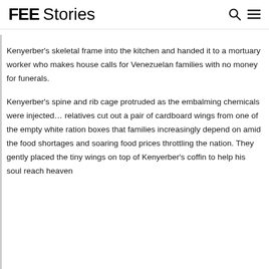FEE Stories
Kenyerber's skeletal frame into the kitchen and handed it to a mortuary worker who makes house calls for Venezuelan families with no money for funerals.
Kenyerber's spine and rib cage protruded as the embalming chemicals were injected… relatives cut out a pair of cardboard wings from one of the empty white ration boxes that families increasingly depend on amid the food shortages and soaring food prices throttling the nation. They gently placed the tiny wings on top of Kenyerber's coffin to help his soul reach heaven